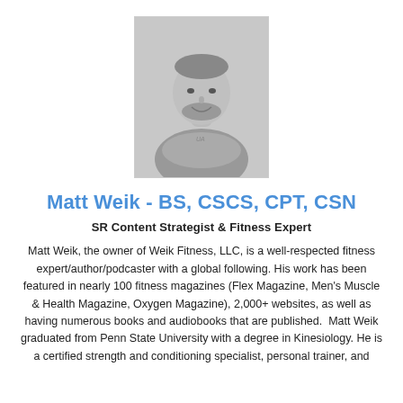[Figure (photo): Black and white headshot photo of Matt Weik, a man with a beard wearing an athletic shirt, arms crossed, smiling.]
Matt Weik - BS, CSCS, CPT, CSN
SR Content Strategist & Fitness Expert
Matt Weik, the owner of Weik Fitness, LLC, is a well-respected fitness expert/author/podcaster with a global following. His work has been featured in nearly 100 fitness magazines (Flex Magazine, Men's Muscle & Health Magazine, Oxygen Magazine), 2,000+ websites, as well as having numerous books and audiobooks that are published.  Matt Weik graduated from Penn State University with a degree in Kinesiology. He is a certified strength and conditioning specialist, personal trainer, and